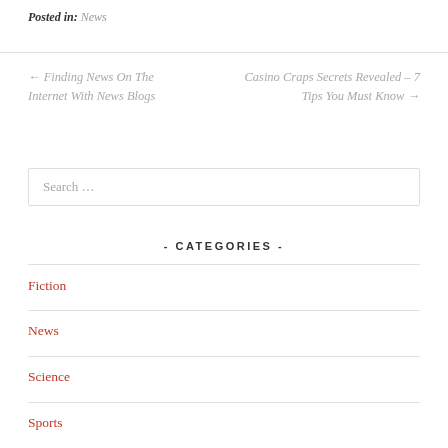Posted in: News
← Finding News On The Internet With News Blogs
Casino Craps Secrets Revealed – 7 Tips You Must Know →
Search …
- CATEGORIES -
Fiction
News
Science
Sports